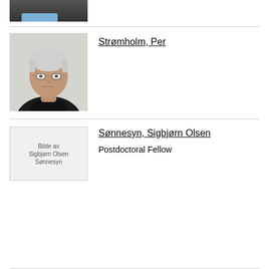[Figure (photo): Partial photo of a person (cropped, showing shoulders and lower face) at top of page]
Strømholm, Per
[Figure (photo): Photo of Per Strømholm, an older man with grey hair and glasses wearing a dark shirt, against a light background]
[Figure (photo): Broken image placeholder: Bilde av Sigbjørn Olsen Sønnesyn]
Sønnesyn, Sigbjørn Olsen
Postdoctoral Fellow